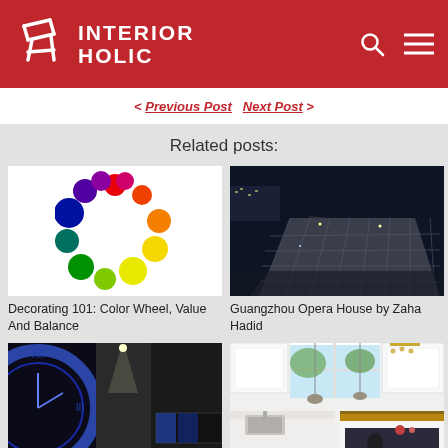INTERIOR HOLIC
< Previous Post   Next Post >
Related posts:
[Figure (illustration): Color wheel with colored circles arranged in a ring showing spectrum from red through orange, yellow, green, teal, blue, purple, magenta]
Decorating 101: Color Wheel, Value And Balance
[Figure (photo): Guangzhou Opera House at night, modern angular building with metallic diamond-pattern facade lit up]
Guangzhou Opera House by Zaha Hadid
[Figure (photo): Dark interior room with large clock face visible through window on left, modern TV unit and spotlights]
[Figure (photo): Bright white kitchen with wooden island countertop, pendant lights, and person sitting at dark table]